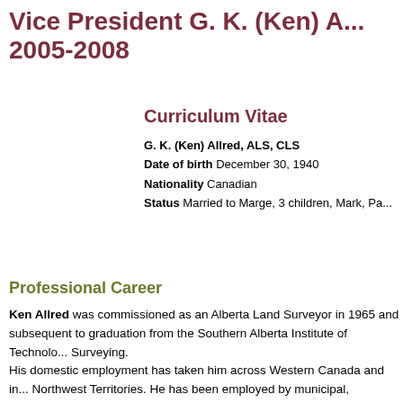Vice President G. K. (Ken) A... 2005-2008
Curriculum Vitae
G. K. (Ken) Allred, ALS, CLS
Date of birth  December 30, 1940
Nationality  Canadian
Status  Married to Marge, 3 children, Mark, Pa...
Professional Career
Ken Allred was commissioned as an Alberta Land Surveyor in 1965 and subsequent to graduation from the Southern Alberta Institute of Technolo... Surveying.
His domestic employment has taken him across Western Canada and in... Northwest Territories. He has been employed by municipal, provincial an... resource exploration with Mobil Oil Canada, and with a private practice f...